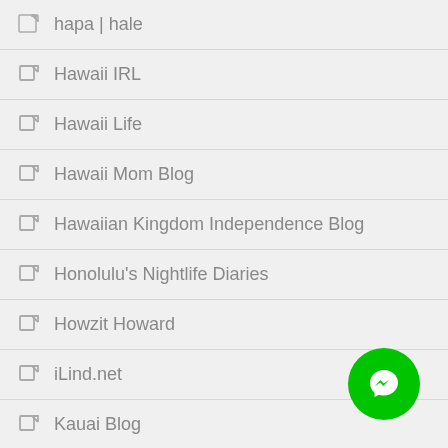hapa | hale
Hawaii IRL
Hawaii Life
Hawaii Mom Blog
Hawaiian Kingdom Independence Blog
Honolulu's Nightlife Diaries
Howzit Howard
iLind.net
Kauai Blog
Lavagal
[Figure (illustration): Green circular Facebook Messenger button in bottom-right corner]